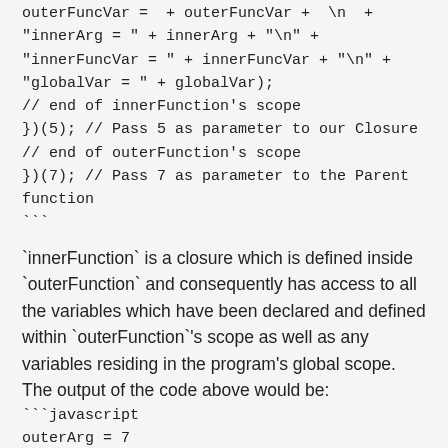outerFuncVar =  + outerFuncVar +  \n  +
"innerArg = " + innerArg + "\n" +
"innerFuncVar = " + innerFuncVar + "\n" +
"globalVar = " + globalVar);
// end of innerFunction's scope
})(5); // Pass 5 as parameter to our Closure
// end of outerFunction's scope
})(7); // Pass 7 as parameter to the Parent function
```
`innerFunction` is a closure which is defined inside `outerFunction` and consequently has access to all the variables which have been declared and defined within `outerFunction`'s scope as well as any variables residing in the program's global scope. The output of the code above would be:
```javascript
outerArg = 7
outerFuncVar = x
innerArg = 5